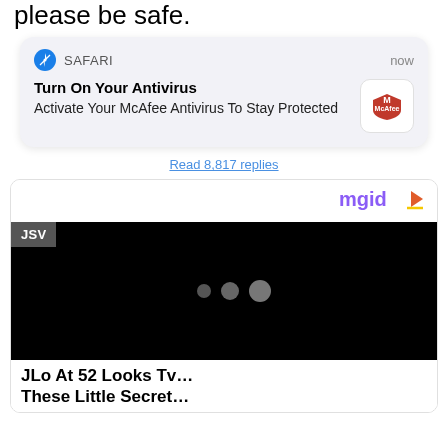please be safe.
[Figure (screenshot): Safari browser push notification for McAfee antivirus]
Read 8,817 replies
[Figure (logo): mgid advertising logo with play button]
[Figure (screenshot): Advertisement content area showing JSV label and black video loading area with three dots, with JLo article teaser below]